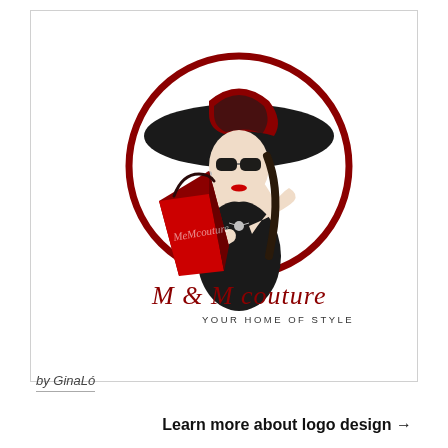[Figure (logo): M & M Couture fashion logo featuring a stylish woman in a wide-brimmed black hat with red accent and sunglasses, holding a red shopping bag labeled 'MeMcouture', inside a dark red circle. Below the circle reads 'M & M couture' in cursive script and 'YOUR HOME OF STYLE' in small caps.]
by GinaLó
Learn more about logo design →